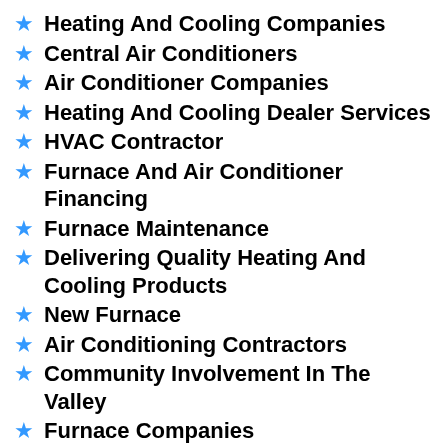Heating And Cooling Companies
Central Air Conditioners
Air Conditioner Companies
Heating And Cooling Dealer Services
HVAC Contractor
Furnace And Air Conditioner Financing
Furnace Maintenance
Delivering Quality Heating And Cooling Products
New Furnace
Air Conditioning Contractors
Community Involvement In The Valley
Furnace Companies